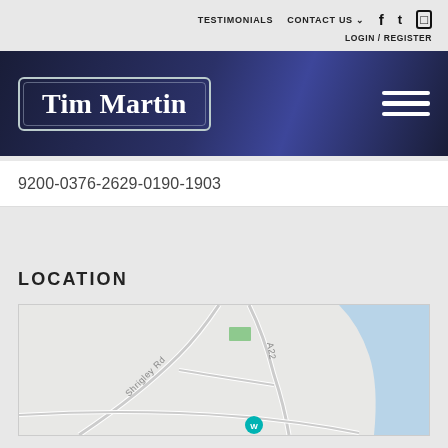TESTIMONIALS   CONTACT US   LOGIN / REGISTER
[Figure (logo): Tim Martin logo in a rectangular bordered box on a dark navy gradient banner with hamburger menu icon]
9200-0376-2629-0190-1903
LOCATION
[Figure (map): Street map showing Shrigley Rd and A22 roads with a water body on the right side and a location pin marker]